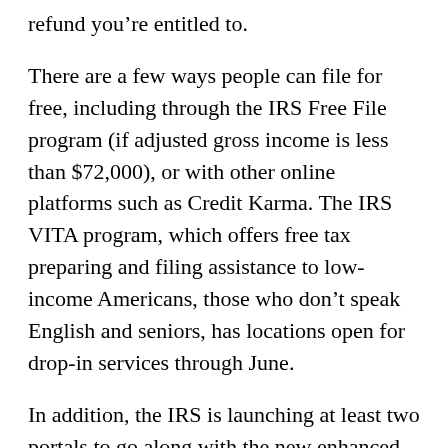refund you're entitled to.
There are a few ways people can file for free, including through the IRS Free File program (if adjusted gross income is less than $72,000), or with other online platforms such as Credit Karma. The IRS VITA program, which offers free tax preparing and filing assistance to low-income Americans, those who don't speak English and seniors, has locations open for drop-in services through June.
In addition, the IRS is launching at least two portals to go along with the new enhanced child tax credit, one of which may include a way for nonfilers to send in a simplified tax return or otherwise give the agency their information to